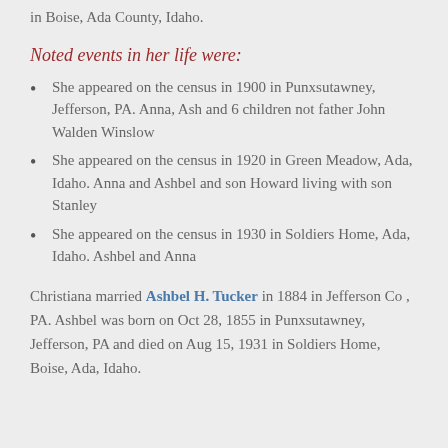in Boise, Ada County, Idaho.
Noted events in her life were:
She appeared on the census in 1900 in Punxsutawney, Jefferson, PA. Anna, Ash and 6 children not father John Walden Winslow
She appeared on the census in 1920 in Green Meadow, Ada, Idaho. Anna and Ashbel and son Howard living with son Stanley
She appeared on the census in 1930 in Soldiers Home, Ada, Idaho. Ashbel and Anna
Christiana married Ashbel H. Tucker in 1884 in Jefferson Co , PA. Ashbel was born on Oct 28, 1855 in Punxsutawney, Jefferson, PA and died on Aug 15, 1931 in Soldiers Home, Boise, Ada, Idaho.